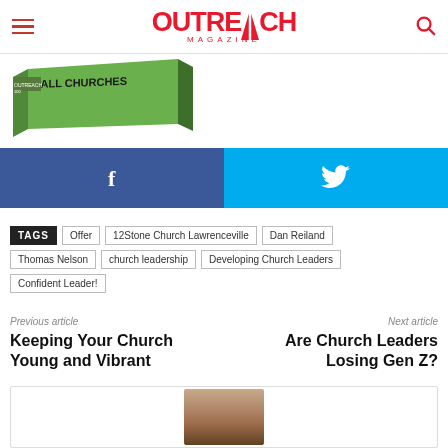Outreach Magazine
[Figure (photo): Book cover showing 'Small Churches' text on a green wedge shape]
[Figure (infographic): Facebook and Twitter share buttons side by side]
TAGS  Offer  12Stone Church Lawrenceville  Dan Reiland  Thomas Nelson  church leadership  Developing Church Leaders  Confident Leader!
Previous article
Keeping Your Church Young and Vibrant
Next article
Are Church Leaders Losing Gen Z?
[Figure (photo): Partial photo of a person at the bottom of the page]